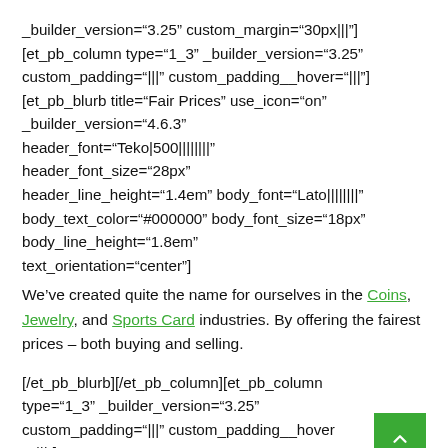_builder_version="3.25" custom_margin="30px|||"
[et_pb_column type="1_3" _builder_version="3.25"
custom_padding="|||" custom_padding__hover="|||"]
[et_pb_blurb title="Fair Prices" use_icon="on"
_builder_version="4.6.3"
header_font="Teko|500|||||||" 
header_font_size="28px"
header_line_height="1.4em" body_font="Lato||||||||"
body_text_color="#000000" body_font_size="18px"
body_line_height="1.8em"
text_orientation="center"]
We've created quite the name for ourselves in the Coins, Jewelry, and Sports Card industries. By offering the fairest prices – both buying and selling.
[/et_pb_blurb][/et_pb_column][et_pb_column type="1_3" _builder_version="3.25"
custom_padding="|||" custom_padding__hover="|||"}